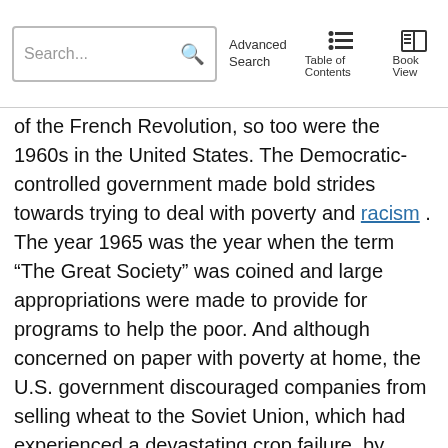Search... [Advanced Search] [Table of Contents] [Book View]
of the French Revolution, so too were the 1960s in the United States. The Democratic-controlled government made bold strides towards trying to deal with poverty and racism . The year 1965 was the year when the term “The Great Society” was coined and large appropriations were made to provide for programs to help the poor. And although concerned on paper with poverty at home, the U.S. government discouraged companies from selling wheat to the Soviet Union, which had experienced a devastating crop failure, by mandating that half of sales would have to be shipped in U.S. owned vessels. This would make the wheat significantly more expensive. Civil Rights legislation that had been passed was supported by concerned citizenry confronting racists and segregationist practices, forcing the government to deal with it. Sometimes, however, these protests took very violent turns resulting in the death of civil rights